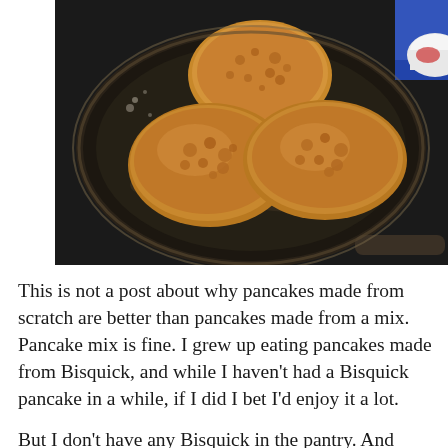[Figure (photo): Three golden-brown pancakes cooking in a dark non-stick skillet/frying pan on a stovetop. The pancakes are fluffy and speckled, arranged with one at the top and two overlapping at the bottom. A white object (possibly a bowl) is visible at the top right corner.]
This is not a post about why pancakes made from scratch are better than pancakes made from a mix. Pancake mix is fine. I grew up eating pancakes made from Bisquick, and while I haven't had a Bisquick pancake in a while, if I did I bet I'd enjoy it a lot.
But I don't have any Bisquick in the pantry. And what if I wanted a pancake? What if I woke up